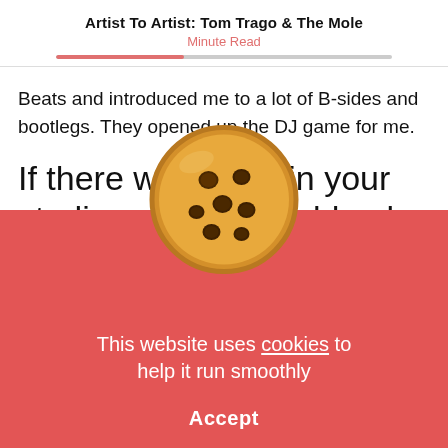Artist To Artist: Tom Trago & The Mole
Minute Read
Beats and introduced me to a lot of B-sides and bootlegs. They opened up the DJ game for me.
If there was a fire in your studio, and y...uld only
[Figure (photo): Cookie consent overlay with a chocolate chip cookie emoji centered at the top, red background, text: 'This website uses cookies to help it run smoothly', and an Accept button below.]
This website uses cookies to help it run smoothly
Accept